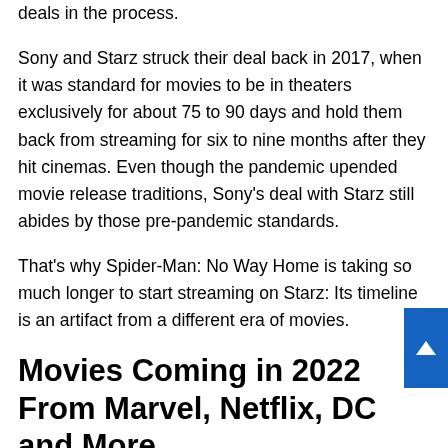deals in the process.
Sony and Starz struck their deal back in 2017, when it was standard for movies to be in theaters exclusively for about 75 to 90 days and hold them back from streaming for six to nine months after they hit cinemas. Even though the pandemic upended movie release traditions, Sony's deal with Starz still abides by those pre-pandemic standards.
That's why Spider-Man: No Way Home is taking so much longer to start streaming on Starz: Its timeline is an artifact from a different era of movies.
Movies Coming in 2022 From Marvel, Netflix, DC and More
[Figure (photo): Natalie Portman wearing helmet, armor and carrying a magic [sword/weapon] — image partially visible at bottom of page]